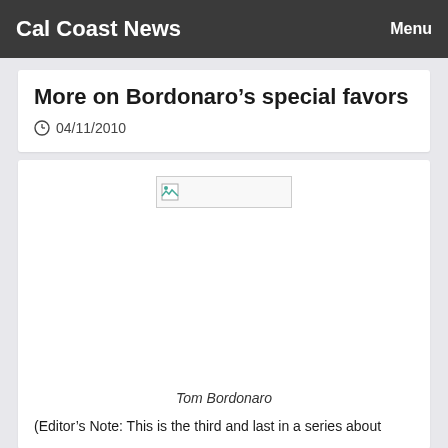Cal Coast News  Menu
More on Bordonaro’s special favors
04/11/2010
[Figure (photo): Broken image placeholder representing a photo of Tom Bordonaro]
Tom Bordonaro
(Editor’s Note: This is the third and last in a series about